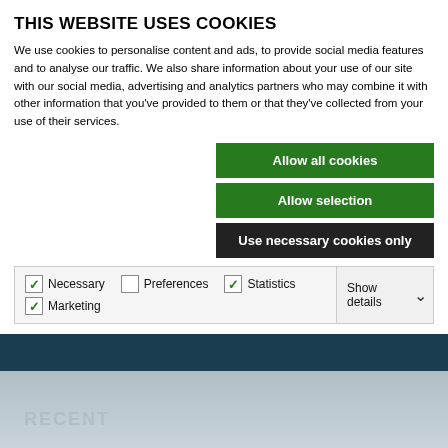THIS WEBSITE USES COOKIES
We use cookies to personalise content and ads, to provide social media features and to analyse our traffic. We also share information about your use of our site with our social media, advertising and analytics partners who may combine it with other information that you've provided to them or that they've collected from your use of their services.
Allow all cookies
Allow selection
Use necessary cookies only
| Necessary | Preferences | Statistics | Show details |
| Marketing |  |  |  |
[Figure (photo): Partial photo of a person, cropped, dark tones]
RECENT